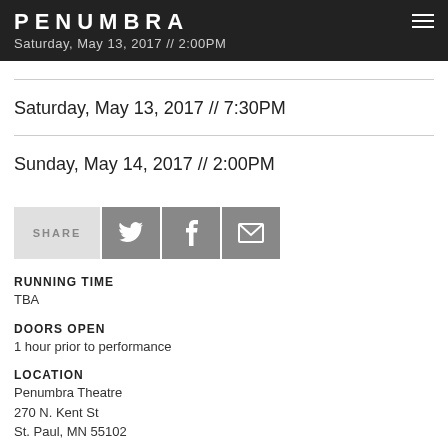PENUMBRA
Saturday, May 13, 2017 // 2:00PM
Saturday, May 13, 2017 // 7:30PM
Sunday, May 14, 2017 // 2:00PM
[Figure (other): Share buttons row: SHARE label, Twitter icon, Facebook icon, Email icon]
RUNNING TIME
TBA
DOORS OPEN
1 hour prior to performance
LOCATION
Penumbra Theatre
270 N. Kent St
St. Paul, MN 55102